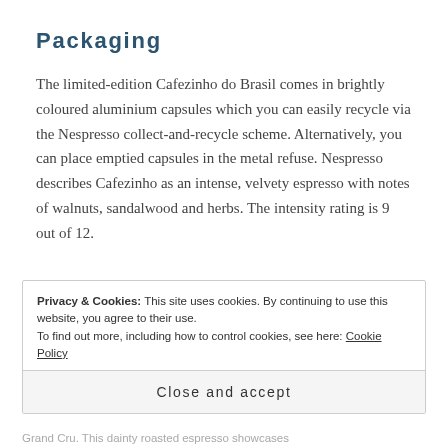Packaging
The limited-edition Cafezinho do Brasil comes in brightly coloured aluminium capsules which you can easily recycle via the Nespresso collect-and-recycle scheme. Alternatively, you can place emptied capsules in the metal refuse. Nespresso describes Cafezinho as an intense, velvety espresso with notes of walnuts, sandalwood and herbs. The intensity rating is 9 out of 12.
Privacy & Cookies: This site uses cookies. By continuing to use this website, you agree to their use.
To find out more, including how to control cookies, see here: Cookie Policy
Close and accept
Grand Cru. This dainty roasted espresso showcases